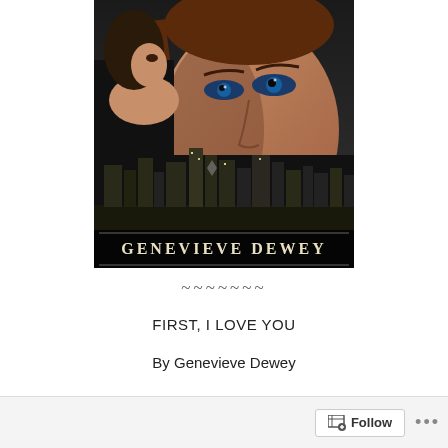[Figure (photo): Book cover for 'First, I Love You' by Genevieve Dewey. Shows a man with blue eyes and a woman looking over her shoulder, with a city skyline at night in the background. Author name 'GENEVIEVE DEWEY' displayed at the bottom of the cover.]
~~~~~~~
FIRST, I LOVE YOU
By Genevieve Dewey
Follow ...